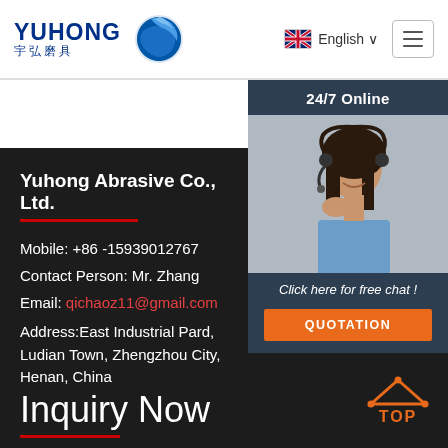YUHONG 宇弘磨具 | English
24/7 Online
[Figure (photo): Customer service woman wearing headset, smiling]
Click here for free chat !
QUOTATION
Yuhong Abrasive Co., Ltd.
Mobile: +86 -15939012767
Contact Person: Mr. Zhang
Email: qichaoz11@gmail.com
Address:East Industrial Pard, Ludian Town, Zhengzhou City, Henan, China
Inquiry Now
[Figure (illustration): Orange TOP button with pyramid/triangle icon]